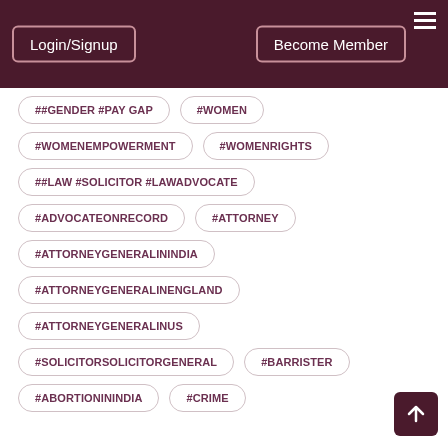Login/Signup | Become Member
##GENDER #PAY GAP
#WOMEN
#WOMENEMPOWERMENT
#WOMENRIGHTS
##LAW #SOLICITOR #LAWADVOCATE
#ADVOCATEONRECORD
#ATTORNEY
#ATTORNEYGENERALININDIA
#ATTORNEYGENERALINENGLAND
#ATTORNEYGENERALINUS
#SOLICITORSOLICITORGENERAL
#BARRISTER
#ABORTIONININDIA
#CRIME